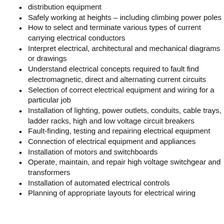distribution equipment
Safely working at heights – including climbing power poles
How to select and terminate various types of current carrying electrical conductors
Interpret electrical, architectural and mechanical diagrams or drawings
Understand electrical concepts required to fault find electromagnetic, direct and alternating current circuits
Selection of correct electrical equipment and wiring for a particular job
Installation of lighting, power outlets, conduits, cable trays, ladder racks, high and low voltage circuit breakers
Fault-finding, testing and repairing electrical equipment
Connection of electrical equipment and appliances
Installation of motors and switchboards
Operate, maintain, and repair high voltage switchgear and transformers
Installation of automated electrical controls
Planning of appropriate layouts for electrical wiring